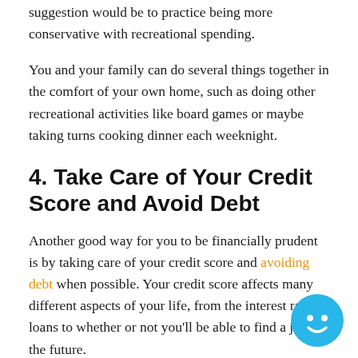suggestion would be to practice being more conservative with recreational spending.
You and your family can do several things together in the comfort of your own home, such as doing other recreational activities like board games or maybe taking turns cooking dinner each weeknight.
4. Take Care of Your Credit Score and Avoid Debt
Another good way for you to be financially prudent is by taking care of your credit score and avoiding debt when possible. Your credit score affects many different aspects of your life, from the interest rate on loans to whether or not you'll be able to find a job in the future.
It's also much easier than you may think for people to fall into debt during tough times. Even new hires receive offers of signing bonuses for taking on more responsibility. This,